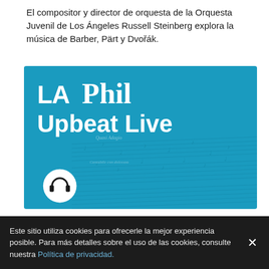El compositor y director de orquesta de la Orquesta Juvenil de Los Ángeles Russell Steinberg explora la música de Barber, Pärt y Dvořák.
[Figure (logo): LA Phil Upbeat Live podcast cover image — blue-tinted sheet music background with 'LA Phil' in serif/sans white text and 'Upbeat Live' in large bold white text, with a headphones icon in a white circle at bottom left]
Este sitio utiliza cookies para ofrecerle la mejor experiencia posible. Para más detalles sobre el uso de las cookies, consulte nuestra Política de privacidad.